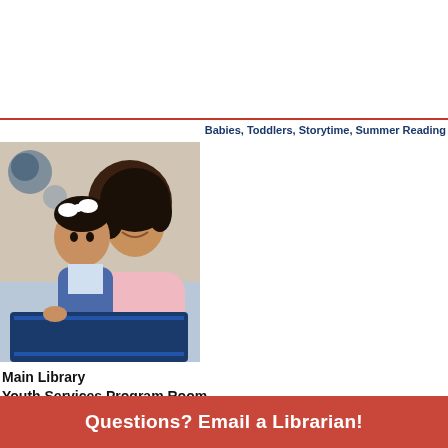Babies, Toddlers, Storytime, Summer Reading
[Figure (photo): A mother and baby/toddler reading a book together, with the mother smiling at the child who has a white bow in their hair]
Main Library
Youth Services Program Room
Wednesday, July 27 at 10:00 am
Registration Required.
Click here to register online.
Ages 2-5: Start your toddler or preschooler on the path to a successful reader! Join us to read Little Blue and Little Yellow, Wiggle Worms, you will also enjoy the read aloud of Apple Pie ABC, morning listening...
Questions? Email a Librarian!